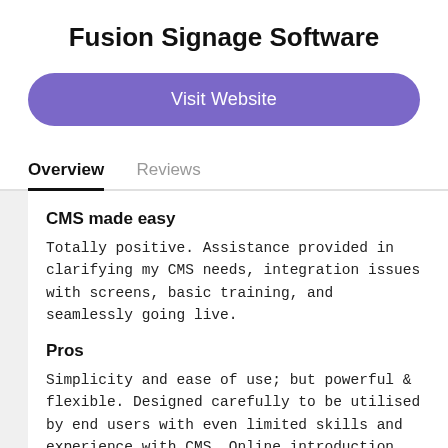Fusion Signage Software
Visit Website
Overview
Reviews
CMS made easy
Totally positive. Assistance provided in clarifying my CMS needs, integration issues with screens, basic training, and seamlessly going live.
Pros
Simplicity and ease of use; but powerful & flexible. Designed carefully to be utilised by end users with even limited skills and experience with CMS. Online introduction and training available. Significant support from [SENSITIVE CONTENT HIDDEN] to make integration and activation a positive